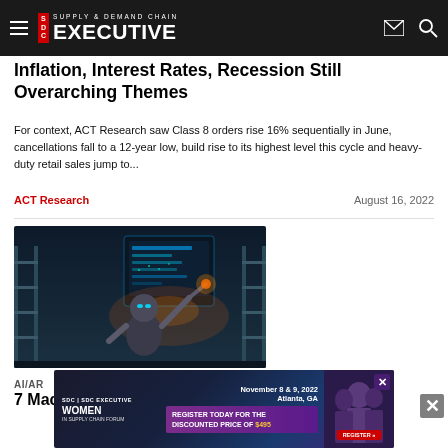Supply & Demand Chain Executive
Inflation, Interest Rates, Recession Still Overarching Themes
For context, ACT Research saw Class 8 orders rise 16% sequentially in June, cancellations fall to a 12-year low, build rise to its highest level this cycle and heavy-duty retail sales jump to...
ACT Research    August 16, 2022
[Figure (photo): Robot arm interacting with a digital display in a warehouse setting, with shelves visible in the background]
AI/AR
7 Machine Learning Applications to Improve
[Figure (other): Advertisement banner for Women in Supply Chain Forum, November 8 & 9 2022, Atlanta GA, Register Today for the Discounted Price of $495]